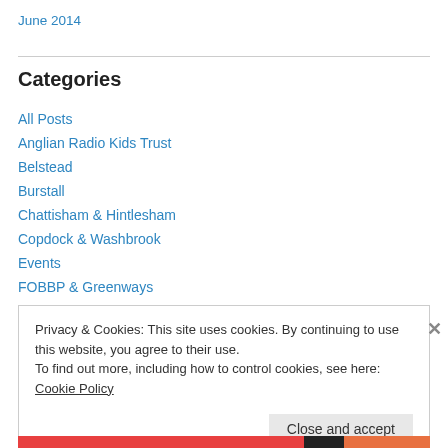June 2014
Categories
All Posts
Anglian Radio Kids Trust
Belstead
Burstall
Chattisham & Hintlesham
Copdock & Washbrook
Events
FOBBP & Greenways
Privacy & Cookies: This site uses cookies. By continuing to use this website, you agree to their use. To find out more, including how to control cookies, see here: Cookie Policy
Close and accept